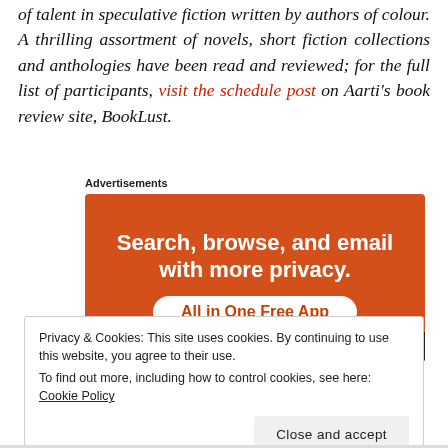of talent in speculative fiction written by authors of colour. A thrilling assortment of novels, short fiction collections and anthologies have been read and reviewed; for the full list of participants, visit the schedule post on Aarti's book review site, BookLust.
Advertisements
[Figure (other): Orange advertisement banner reading 'Search, browse, and email with more privacy. All in One Free App' with a phone image at the bottom.]
Privacy & Cookies: This site uses cookies. By continuing to use this website, you agree to their use. To find out more, including how to control cookies, see here: Cookie Policy
Close and accept